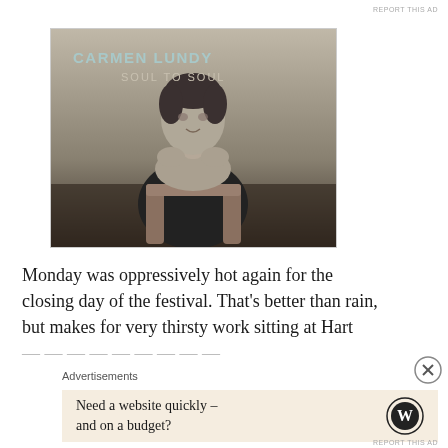REPORT THIS AD
[Figure (photo): Black and white album cover photo of Carmen Lundy seated at a wooden chair, hands clasped near her face, looking at the camera. Text overlay reads 'CARMEN LUNDY / SOUL TO SOUL'.]
Monday was oppressively hot again for the closing day of the festival. That's better than rain, but makes for very thirsty work sitting at Hart Plaza. One has to realise there is no assigned seating at the free
Advertisements
Need a website quickly – and on a budget?
REPORT THIS AD